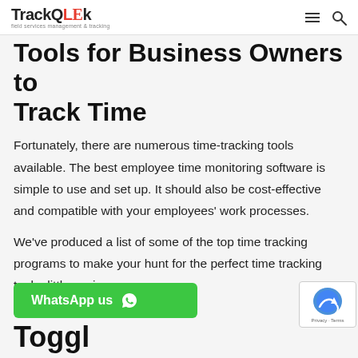TrackQLEk — field services management & tracking
Tools for Business Owners to Track Time
Fortunately, there are numerous time-tracking tools available. The best employee time monitoring software is simple to use and set up. It should also be cost-effective and compatible with your employees' work processes.
We've produced a list of some of the top time tracking programs to make your hunt for the perfect time tracking tool a little easier.
WhatsApp us
Toggl